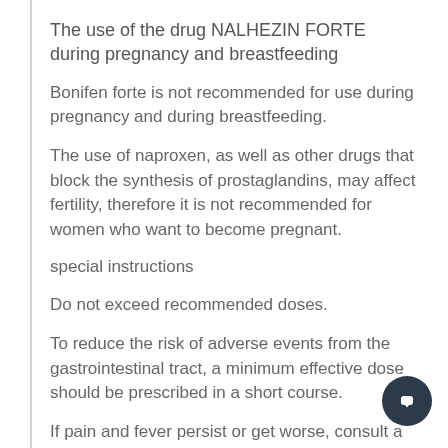The use of the drug NALHEZIN FORTE during pregnancy and breastfeeding
Bonifen forte is not recommended for use during pregnancy and during breastfeeding.
The use of naproxen, as well as other drugs that block the synthesis of prostaglandins, may affect fertility, therefore it is not recommended for women who want to become pregnant.
special instructions
Do not exceed recommended doses.
To reduce the risk of adverse events from the gastrointestinal tract, a minimum effective dose should be prescribed in a short course.
If pain and fever persist or get worse, consult a doctor. Patients with bronchial asthma, bleeding disorders, as well as patients with hypersensitivity to other analgesics should receive advice from a doctor before taking Bonifen forte.